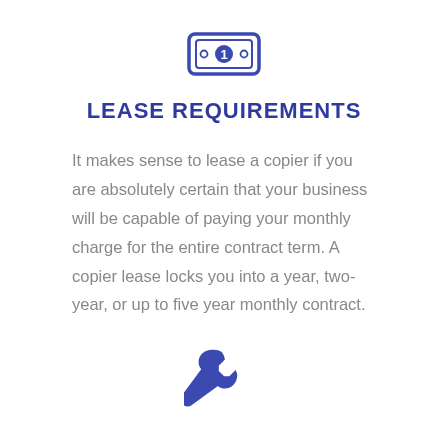[Figure (illustration): Blue icon of a dollar bill with the number 1 in a circle in the center, styled in navy/dark blue outline on white background]
LEASE REQUIREMENTS
It makes sense to lease a copier if you are absolutely certain that your business will be capable of paying your monthly charge for the entire contract term. A copier lease locks you into a year, two-year, or up to five year monthly contract.
[Figure (illustration): Blue icon of a wrench tool, styled in navy/dark blue on white background]
SERVICE CONTRACT